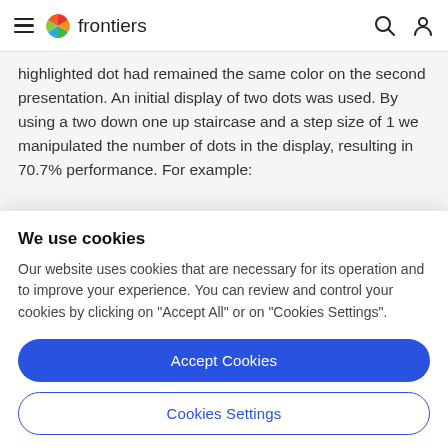frontiers
highlighted dot had remained the same color on the second presentation. An initial display of two dots was used. By using a two down one up staircase and a step size of 1 we manipulated the number of dots in the display, resulting in 70.7% performance. For example:
We use cookies
Our website uses cookies that are necessary for its operation and to improve your experience. You can review and control your cookies by clicking on "Accept All" or on "Cookies Settings".
Accept Cookies
Cookies Settings